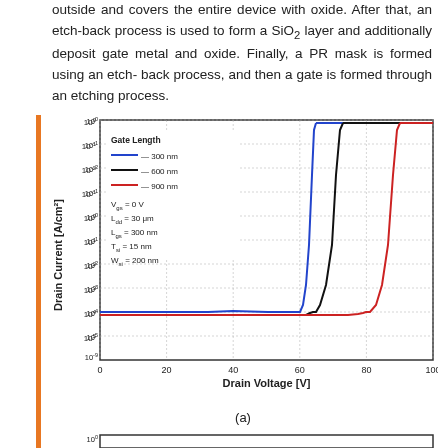outside and covers the entire device with oxide. After that, an etch-back process is used to form a SiO2 layer and additionally deposit gate metal and oxide. Finally, a PR mask is formed using an etch-back process, and then a gate is formed through an etching process.
[Figure (continuous-plot): Semi-log plot of Drain Current [A/cm²] vs Drain Voltage [V] for three gate lengths (300 nm blue, 600 nm black, 900 nm red). Y-axis spans 10^0 to 10^-9, X-axis from 0 to 100 V. Parameters: Vgs=0V, Ldd=30µm, Lgs=300nm, Tsi=15nm, Wsi=200nm.]
(a)
[Figure (continuous-plot): Bottom of a second plot (partial view), semi-log Drain Current vs Drain Voltage.]